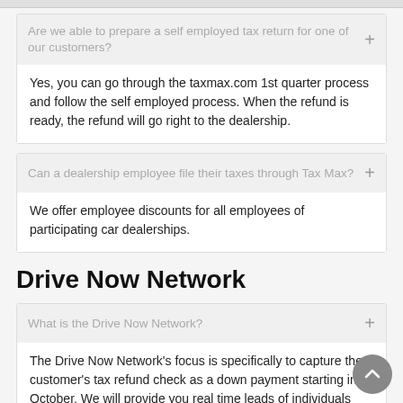Are we able to prepare a self employed tax return for one of our customers?
Yes, you can go through the taxmax.com 1st quarter process and follow the self employed process. When the refund is ready, the refund will go right to the dealership.
Can a dealership employee file their taxes through Tax Max?
We offer employee discounts for all employees of participating car dealerships.
Drive Now Network
What is the Drive Now Network?
The Drive Now Network's focus is specifically to capture the customer's tax refund check as a down payment starting in October. We will provide you real time leads of individuals looking to buy a car using their anticipated refund.